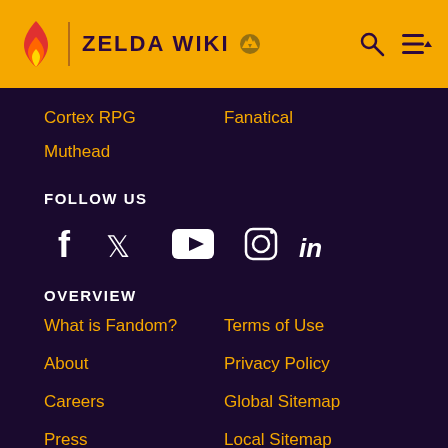ZELDA WIKI
Cortex RPG
Fanatical
Muthead
FOLLOW US
[Figure (infographic): Social media icons: Facebook, Twitter, YouTube, Instagram, LinkedIn]
OVERVIEW
What is Fandom?
Terms of Use
About
Privacy Policy
Careers
Global Sitemap
Press
Local Sitemap